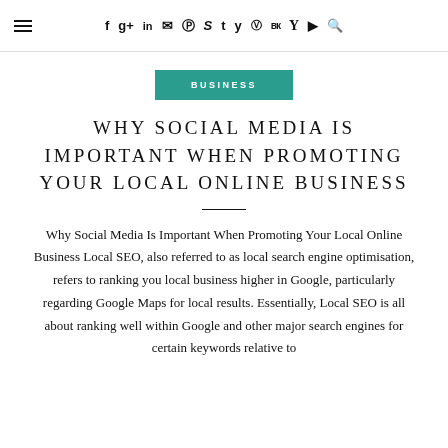≡  f  g+  in  ✉  ⊕  S  t  y  v  vk  Y  ▶  🔍
BUSINESS
WHY SOCIAL MEDIA IS IMPORTANT WHEN PROMOTING YOUR LOCAL ONLINE BUSINESS
Why Social Media Is Important When Promoting Your Local Online Business Local SEO, also referred to as local search engine optimisation, refers to ranking you local business higher in Google, particularly regarding Google Maps for local results. Essentially, Local SEO is all about ranking well within Google and other major search engines for certain keywords relative to your particular niche and location.